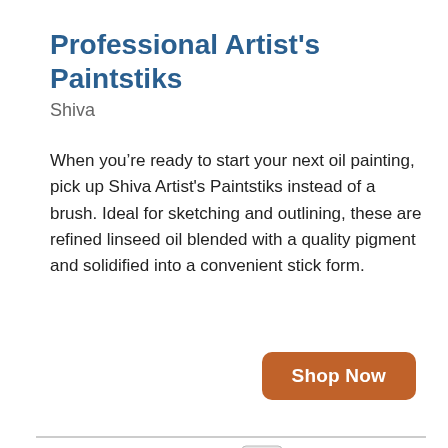Professional Artist's Paintstiks
Shiva
When you’re ready to start your next oil painting, pick up Shiva Artist's Paintstiks instead of a brush. Ideal for sketching and outlining, these are refined linseed oil blended with a quality pigment and solidified into a convenient stick form.
[Figure (other): Orange rounded-rectangle button with white text reading 'Shop Now']
[Figure (photo): Accessibility icon: dark blue circle with white figure of a person with arms raised]
[Figure (photo): Williamsburg Handmade Oil Colors paint tube/bottle, partially visible, silver metallic with white label]